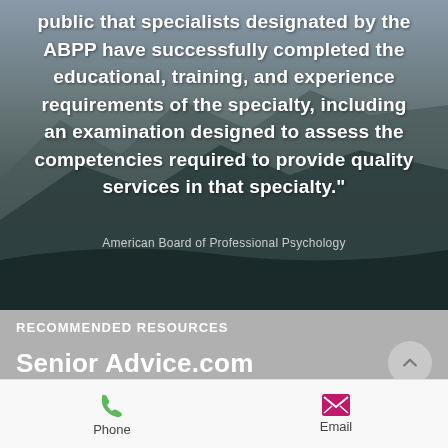[Figure (photo): Dark mountainous landscape background with white bold quote text overlay and attribution reading 'American Board of Professional Psychology'. Quote text reads: 'public that specialists designated by the ABPP have successfully completed the educational, training, and experience requirements of the specialty, including an examination designed to assess the competencies required to provide quality services in that specialty."']
RECOMMENDED RESOURCES
Senior Advice.com
SeniorAdvice.com has been built by an outstanding team of individuals who came
Phone
Email